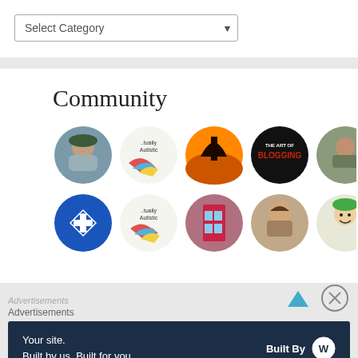[Figure (screenshot): A dropdown select box labeled 'Select Category' with a downward arrow on the right side, displayed on a white panel]
Community
[Figure (illustration): A grid of 10 circular avatar images arranged in 2 rows of 5, representing various blog community members with diverse profile pictures including people, logos, and artwork]
Advertisements
[Figure (screenshot): A dark navy blue advertisement banner reading 'Your site. Built by us. Built for you.' with a 'Built By WordPress' logo on the right]